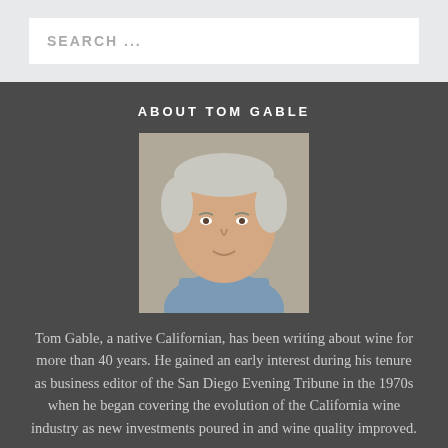SEARCH ...
ABOUT TOM GABLE
[Figure (photo): Headshot photo of Tom Gable, an older man with white hair, wearing a blue shirt, smiling slightly.]
Tom Gable, a native Californian, has been writing about wine for more than 40 years. He gained an early interest during his tenure as business editor of the San Diego Evening Tribune in the 1970s when he began covering the evolution of the California wine industry as new investments poured in and wine quality improved.
read more >